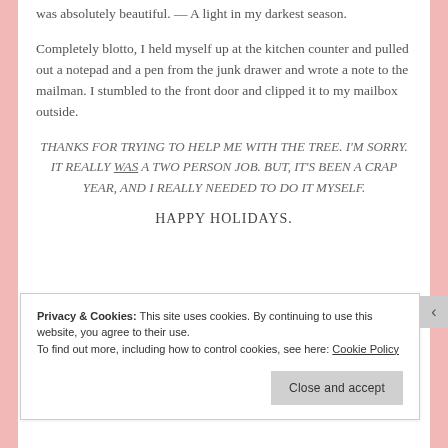was absolutely beautiful. — A light in my darkest season.
Completely blotto, I held myself up at the kitchen counter and pulled out a notepad and a pen from the junk drawer and wrote a note to the mailman. I stumbled to the front door and clipped it to my mailbox outside.
THANKS FOR TRYING TO HELP ME WITH THE TREE. I'M SORRY. IT REALLY WAS A TWO PERSON JOB. BUT, IT'S BEEN A CRAP YEAR, AND I REALLY NEEDED TO DO IT MYSELF.
HAPPY HOLIDAYS.
Privacy & Cookies: This site uses cookies. By continuing to use this website, you agree to their use. To find out more, including how to control cookies, see here: Cookie Policy